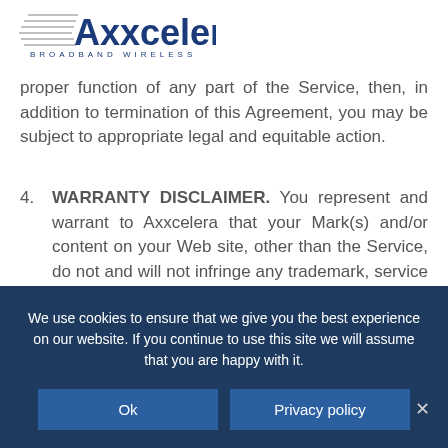[Figure (logo): Axxcelera Broadband Wireless logo with speed-lines graphic and blue text]
proper function of any part of the Service, then, in addition to termination of this Agreement, you may be subject to appropriate legal and equitable action.
4. WARRANTY DISCLAIMER. You represent and warrant to Axxcelera that your Mark(s) and/or content on your Web site, other than the Service, do not and will not infringe any trademark, service mark, copyright, right to publicity, right of privacy or other intellectual property right of a third party, constitute false
We use cookies to ensure that we give you the best experience on our website. If you continue to use this site we will assume that you are happy with it.